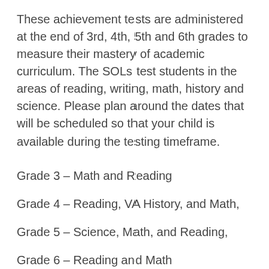These achievement tests are administered at the end of 3rd, 4th, 5th and 6th grades to measure their mastery of academic curriculum. The SOLs test students in the areas of reading, writing, math, history and science. Please plan around the dates that will be scheduled so that your child is available during the testing timeframe.
Grade 3 – Math and Reading
Grade 4 – Reading, VA History, and Math,
Grade 5 – Science, Math, and Reading,
Grade 6 – Reading and Math